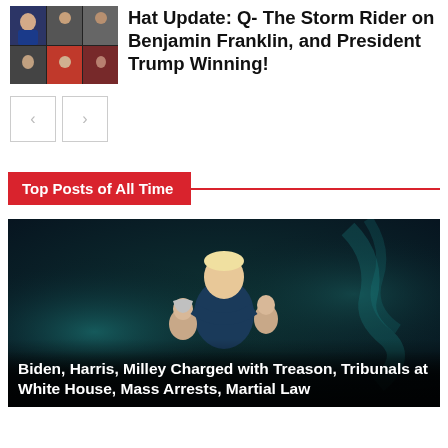[Figure (photo): Grid of photos showing political figures including Trump]
Hat Update: Q- The Storm Rider on Benjamin Franklin, and President Trump Winning!
[Figure (other): Navigation previous and next buttons]
Top Posts of All Time
[Figure (photo): Dark dramatic image of figure holding children, with teal smoke background]
Biden, Harris, Milley Charged with Treason, Tribunals at White House, Mass Arrests, Martial Law